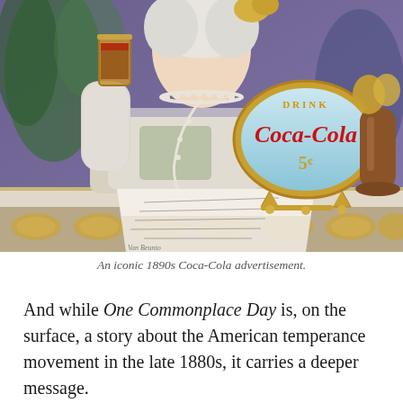[Figure (illustration): An iconic 1890s Coca-Cola advertisement featuring an elegantly dressed Victorian woman holding a glass of Coca-Cola, wearing pearls and white gloves, with a 'Drink Coca-Cola 5¢' sign and a decorative vase on a counter in front of her.]
An iconic 1890s Coca-Cola advertisement.
And while One Commonplace Day is, on the surface, a story about the American temperance movement in the late 1880s, it carries a deeper message.